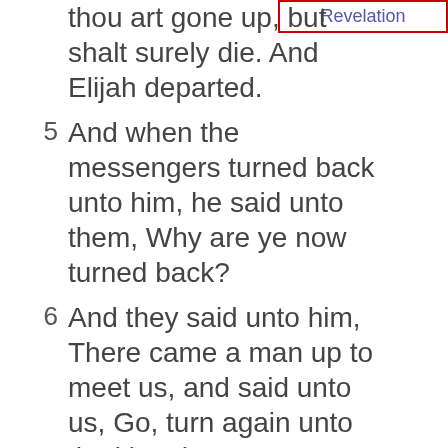thou art gone up, but shalt surely die. And Elijah departed.
5  And when the messengers turned back unto him, he said unto them, Why are ye now turned back?
6  And they said unto him, There came a man up to meet us, and said unto us, Go, turn again unto the king that sent you, and say unto him, Thus saith the LORD, [Is it] not because [there is] not a God in Israel, [that] thou sendest to enquire of
Revelation